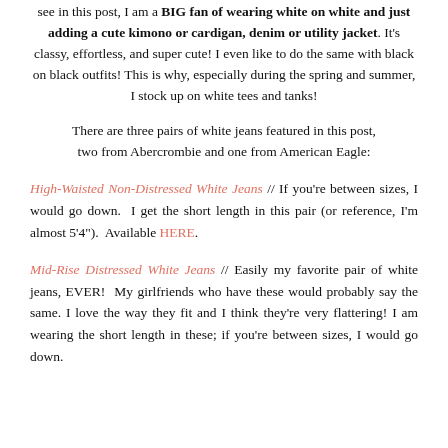see in this post, I am a BIG fan of wearing white on white and just adding a cute kimono or cardigan, denim or utility jacket. It's classy, effortless, and super cute! I even like to do the same with black on black outfits! This is why, especially during the spring and summer, I stock up on white tees and tanks!
There are three pairs of white jeans featured in this post, two from Abercrombie and one from American Eagle:
High-Waisted Non-Distressed White Jeans // If you're between sizes, I would go down. I get the short length in this pair (or reference, I'm almost 5'4"). Available HERE.
Mid-Rise Distressed White Jeans // Easily my favorite pair of white jeans, EVER! My girlfriends who have these would probably say the same. I love the way they fit and I think they're very flattering! I am wearing the short length in these; if you're between sizes, I would go down.